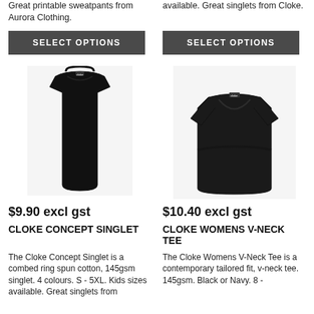Great printable sweatpants from Aurora Clothing.
available. Great singlets from Cloke.
Select options
Select options
[Figure (photo): Black sleeveless singlet/tank top against white background]
[Figure (photo): Black womens v-neck short sleeve tee against white background, shown on female mannequin]
$9.90 excl gst
$10.40 excl gst
CLOKE CONCEPT SINGLET
CLOKE WOMENS V-NECK TEE
The Cloke Concept Singlet is a combed ring spun cotton, 145gsm singlet. 4 colours. S - 5XL. Kids sizes available. Great singlets from
The Cloke Womens V-Neck Tee is a contemporary tailored fit, v-neck tee. 145gsm. Black or Navy. 8 -